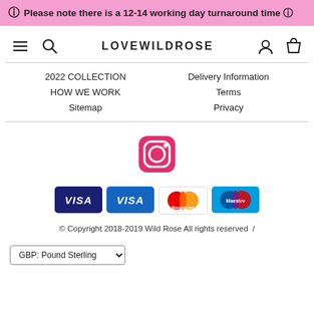ℹ Please note there is a 12-14 working day turnaround time 🛈
[Figure (logo): LOVEWILDROSE website navigation bar with hamburger menu, search icon, brand name LOVEWILDROSE, user icon, and shopping bag icon]
2022 COLLECTION
HOW WE WORK
Sitemap
Delivery Information
Terms
Privacy
[Figure (logo): Instagram icon - pink/red rounded square with camera outline]
[Figure (infographic): Payment method icons: VISA (dark blue), VISA (blue), MasterCard, Maestro]
© Copyright 2018-2019 Wild Rose All rights reserved  /
GBP: Pound Sterling